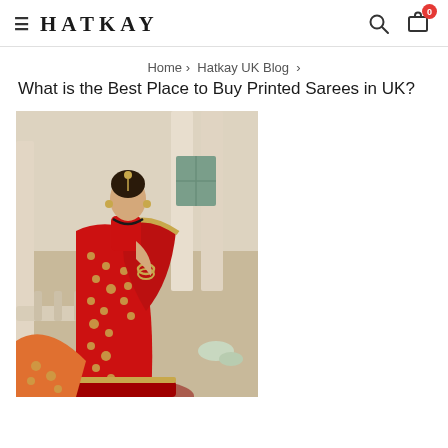≡ HATKAY
Home › Hatkay UK Blog ›
What is the Best Place to Buy Printed Sarees in UK?
[Figure (photo): A woman wearing a red and gold embroidered printed saree, standing near white pillars of a classical building exterior.]